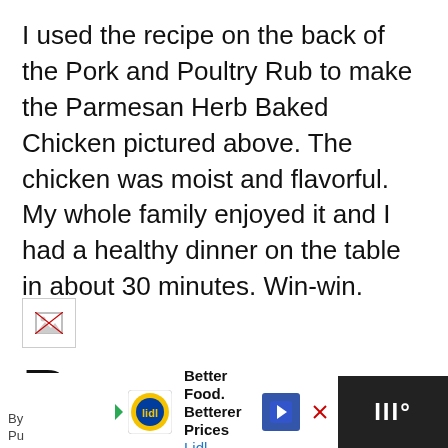I used the recipe on the back of the Pork and Poultry Rub to make the Parmesan Herb Baked Chicken pictured above. The chicken was moist and flavorful.  My whole family enjoyed it and I had a healthy dinner on the table in about 30 minutes.  Win-win.
[Figure (photo): Broken/missing image placeholder icon]
Parmesan Herb Baked Chicken
[Figure (other): Green circular heart/like button with count 1, and a share button]
By [author] Pu[blished] | Better Food. Betterer Prices Lidl [navigation arrow] [dark footer with weather widget]